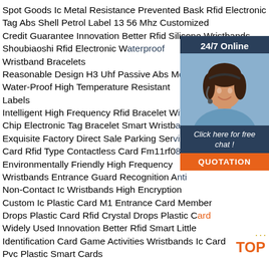Spot Goods Ic Metal Resistance Prevented Bask Rfid Electronic Tag Abs Shell Petrol Label 13 56 Mhz Customized
Credit Guarantee Innovation Better Rfid Silicone Wristbands Shoubiaoshi Rfid Electronic Waterproof Wristband Bracelets
Reasonable Design H3 Uhf Passive Abs Metal Water-Proof High Temperature Resistant Labels
Intelligent High Frequency Rfid Bracelet With Chip Electronic Tag Bracelet Smart Wristband
Exquisite Factory Direct Sale Parking Service Card Rfid Type Contactless Card Fm11rf08
Environmentally Friendly High Frequency Wristbands Entrance Guard Recognition Anti
Non-Contact Ic Wristbands High Encryption
Custom Ic Plastic Card M1 Entrance Card Member
Drops Plastic Card Rfid Crystal Drops Plastic Card
Widely Used Innovation Better Rfid Smart Little Identification Card Game Activities Wristbands Ic Card
Pvc Plastic Smart Cards
[Figure (infographic): Customer service sidebar with '24/7 Online' badge, agent photo, 'Click here for free chat!' text, and orange QUOTATION button. Also includes a TOP badge with decorative dots.]